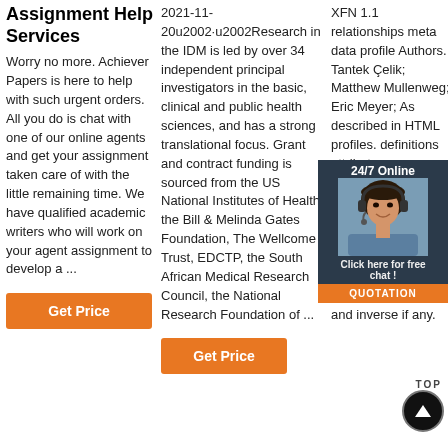Assignment Help Services
Worry no more. Achiever Papers is here to help with such urgent orders. All you do is chat with one of our online agents and get your assignment taken care of with the little remaining time. We have qualified academic writers who will work on your agent assignment to develop a ...
Get Price
2021-11-20u2002·u2002Research in the IDM is led by over 34 independent principal investigators in the basic, clinical and public health sciences, and has a strong translational focus. Grant and contract funding is sourced from the US National Institutes of Health, the Bill & Melinda Gates Foundation, The Wellcome Trust, EDCTP, the South African Medical Research Council, the National Research Foundation of ...
Get Price
XFN 1.1 relationships meta data profile Authors. Tantek Çelik; Matthew Mullenweg; Eric Meyer; As described in HTML profiles. definitions attribute some attribute values, can be used omitted combined otherwise except where prohibited by law) and their meanings, symmetry, transitivity and inverse if any.
Get Price
[Figure (photo): 24/7 Online chat widget with a female customer service agent photo, 'Click here for free chat!' text and orange QUOTATION button]